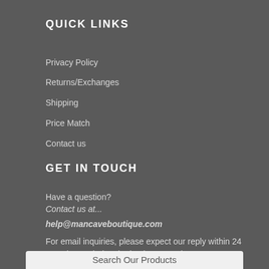QUICK LINKS
Privacy Policy
Returns/Exchanges
Shipping
Price Match
Contact us
GET IN TOUCH
Have a question?
Contact us at...
help@mancaveboutique.com
For email inquiries, please expect our reply within 24 to 48 hours during the business week.
Search Our Products